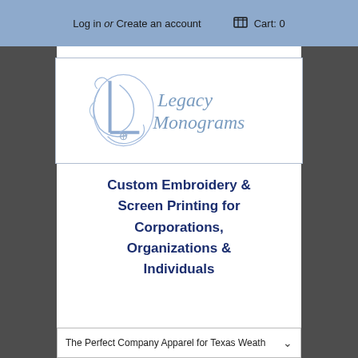Log in or Create an account   Cart: 0
[Figure (logo): Legacy Monograms logo with ornate blue monogram letter and text 'Legacy Monograms' in blue serif font, inside a rectangular border]
Custom Embroidery & Screen Printing for Corporations, Organizations & Individuals
The Perfect Company Apparel for Texas Weath...